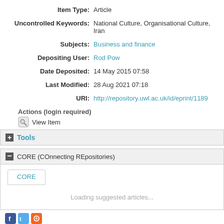| Item Type: | Article |
| Uncontrolled Keywords: | National Culture, Organisational Culture, Iran |
| Subjects: | Business and finance |
| Depositing User: | Rod Pow |
| Date Deposited: | 14 May 2015 07:58 |
| Last Modified: | 28 Aug 2021 07:18 |
| URI: | http://repository.uwl.ac.uk/id/eprint/1189 |
Actions (login required)
View Item
Tools
CORE (COnnecting REpositories)
CORE
Loading suggested articles...
[Figure (other): Social media icons: Facebook, Twitter, RSS feed]